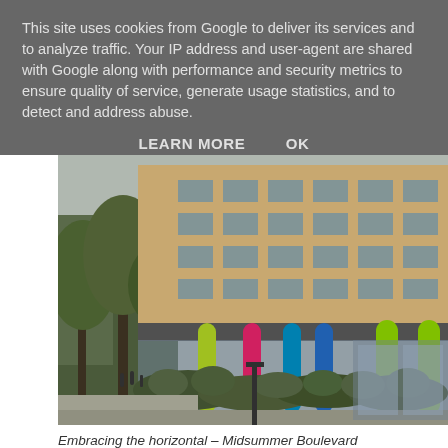This site uses cookies from Google to deliver its services and to analyze traffic. Your IP address and user-agent are shared with Google along with performance and security metrics to ensure quality of service, generate usage statistics, and to detect and address abuse.
LEARN MORE    OK
[Figure (photo): Exterior photo of a multi-storey brick building on Midsummer Boulevard, featuring colorful cylindrical columns (yellow-green, pink/red, blue, lime green) at ground level, with neatly trimmed hedges along a pedestrian path and trees to the left.]
Embracing the horizontal – Midsummer Boulevard